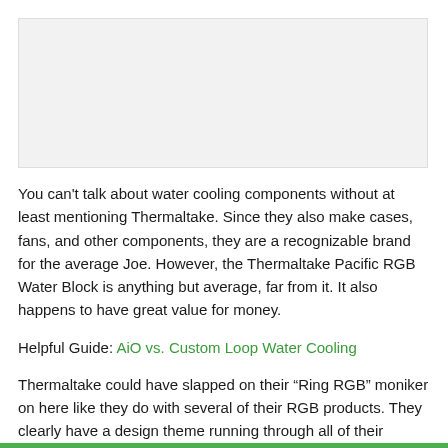[Figure (photo): Placeholder image area for a product photo]
You can't talk about water cooling components without at least mentioning Thermaltake. Since they also make cases, fans, and other components, they are a recognizable brand for the average Joe. However, the Thermaltake Pacific RGB Water Block is anything but average, far from it. It also happens to have great value for money.
Helpful Guide: AiO vs. Custom Loop Water Cooling
Thermaltake could have slapped on their “Ring RGB” moniker on here like they do with several of their RGB products. They clearly have a design theme running through all of their